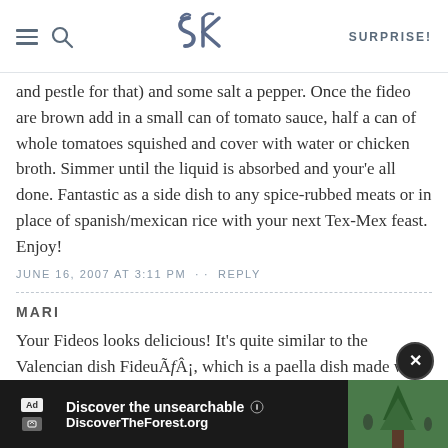SK | SURPRISE!
and pestle for that) and some salt a pepper. Once the fideo are brown add in a small can of tomato sauce, half a can of whole tomatoes squished and cover with water or chicken broth. Simmer until the liquid is absorbed and your'e all done. Fantastic as a side dish to any spice-rubbed meats or in place of spanish/mexican rice with your next Tex-Mex feast. Enjoy!
JUNE 16, 2007 AT 3:11 PM · · REPLY
MARI
Your Fideos looks delicious! It’s quite similar to the Valencian dish FideuÃƒÂ¡, which is a paella dish made with short vermicelli noodles instead of rice, and served with aioli. Super-yum!
JUNE 16, 2007 AT 4:22 PM · · REPLY
[Figure (other): Advertisement banner: Discover the unsearchable / DiscoverTheForest.org with forest photo]